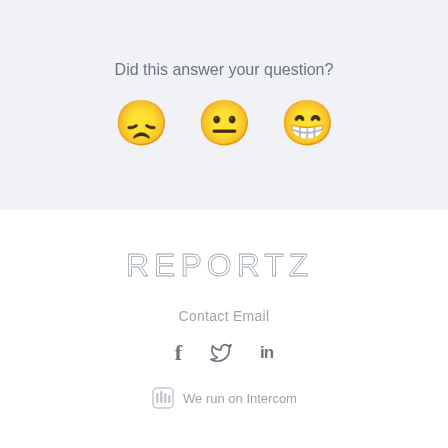Did this answer your question?
[Figure (illustration): Three emoji faces: disappointed (frowning), neutral (flat mouth), and happy (big grin with teeth)]
[Figure (logo): REPORTZ logo in thin gray stylized letters]
Contact Email
[Figure (illustration): Social media icons: Facebook (f), Twitter (bird), LinkedIn (in)]
We run on Intercom